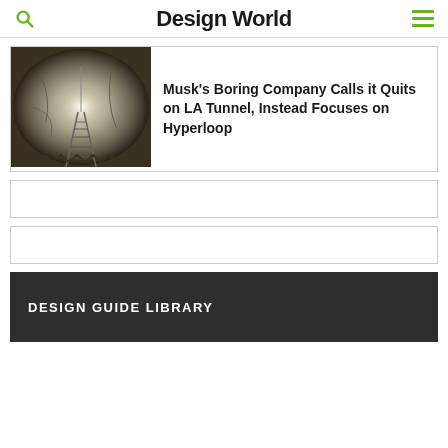Design World
[Figure (photo): Tunnel interior viewed from the end, showing circular tunnel walls with tracks, dramatic perspective shot in monochrome tones]
Musk's Boring Company Calls it Quits on LA Tunnel, Instead Focuses on Hyperloop
DESIGN GUIDE LIBRARY